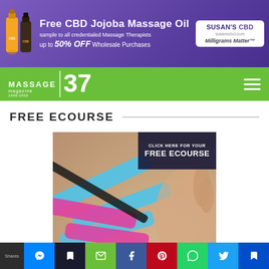[Figure (infographic): Ad banner for Susan's CBD Free CBD Jojoba Massage Oil — sample to all credentialed Massage Therapists, up to 50% OFF Wholesale Purchases. Purple background with oil bottles on left and Susan's CBD logo on right.]
MASSAGE 37 magazine 1985-2022
FREE ECOURSE
[Figure (photo): Promotional image for free ecourse: kinesiology taping on a person's shoulder/back with pink, blue, and black tape strips. Top right overlay says 'CLICK HERE FOR YOUR FREE ECOURSE'. Bottom caption: 'The Brain and Pain: Kinesiology Taping as a Catalyst' with FMT+ and RockTape logos.]
Shares [social share icons: Messenger, Bookmark, Email, Facebook, Pinterest, WhatsApp, Twitter, Save]